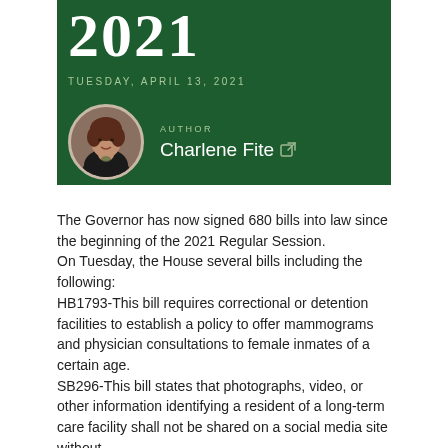2021
TUESDAY, APRIL 13, 2021
AUTHOR
Charlene Fite
The Governor has now signed 680 bills into law since the beginning of the 2021 Regular Session.
On Tuesday, the House several bills including the following:
HB1793-This bill requires correctional or detention facilities to establish a policy to offer mammograms and physician consultations to female inmates of a certain age.
SB296-This bill states that photographs, video, or other information identifying a resident of a long-term care facility shall not be shared on a social media site without